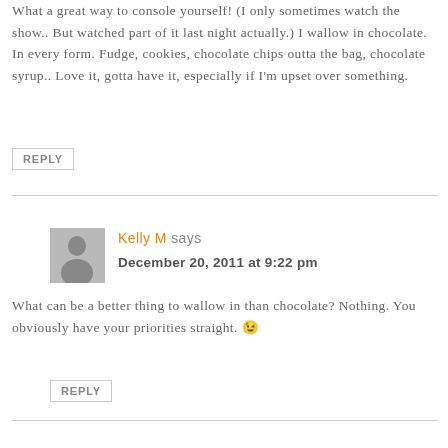What a great way to console yourself! (I only sometimes watch the show.. But watched part of it last night actually.) I wallow in chocolate. In every form. Fudge, cookies, chocolate chips outta the bag, chocolate syrup.. Love it, gotta have it, especially if I'm upset over something.
REPLY
Kelly M says
December 20, 2011 at 9:22 pm
What can be a better thing to wallow in than chocolate? Nothing. You obviously have your priorities straight. 😉
REPLY